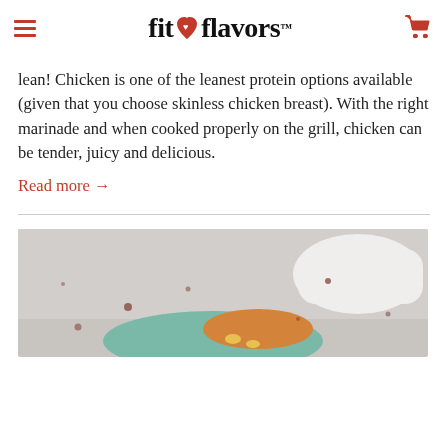fit flavors
lean! Chicken is one of the leanest protein options available (given that you choose skinless chicken breast). With the right marinade and when cooked properly on the grill, chicken can be tender, juicy and delicious.
Read more →
[Figure (photo): Food photo showing what appears to be a plate with colorful food items on a light gray background, with a white ceramic dish in the upper right corner]